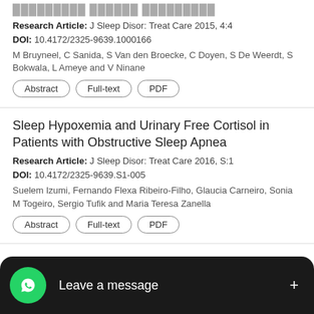[Partial title cut off at top]
Research Article: J Sleep Disor: Treat Care 2015, 4:4
DOI: 10.4172/2325-9639.1000166
M Bruyneel, C Sanida, S Van den Broecke, C Doyen, S De Weerdt, S Bokwala, L Ameye and V Ninane
Abstract | Full-text | PDF
Sleep Hypoxemia and Urinary Free Cortisol in Patients with Obstructive Sleep Apnea
Research Article: J Sleep Disor: Treat Care 2016, S:1
DOI: 10.4172/2325-9639.S1-005
Suelem Izumi, Fernando Flexa Ribeiro-Filho, Glaucia Carneiro, Sonia M Togeiro, Sergio Tufik and Maria Teresa Zanella
Abstract | Full-text | PDF
Subjective and Objective Sleep Measures in Older People with a History of Falls
Research Article: J Sleep Disor: Treat Care 2014, 3:1
Fran... ms, Briony Dow, Xiaoping Lin, V...
[Figure (screenshot): WhatsApp 'Leave a message' overlay at the bottom of the screen, with green WhatsApp icon and a '+' button on the right.]